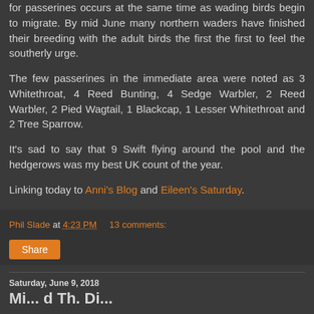for passerines occurs at the same time as wading birds begin to migrate. By mid June many northern waders have finished their breeding with the adult birds the first the first to feel the southerly urge.
The few passerines in the immediate area were noted as 3 Whitethroat, 4 Reed Bunting, 4 Sedge Warbler, 2 Reed Warbler, 2 Pied Wagtail, 1 Blackcap, 1 Lesser Whitethroat and 2 Tree Sparrow.
It's sad to say that 9 Swift flying around the pool and the hedgerows was my best UK count of the year.
Linking today to Anni's Blog and Eileen's Saturday.
Phil Slade at 4:23 PM    13 comments:
Share
Saturday, June 9, 2018
Mi... d Th. Di...